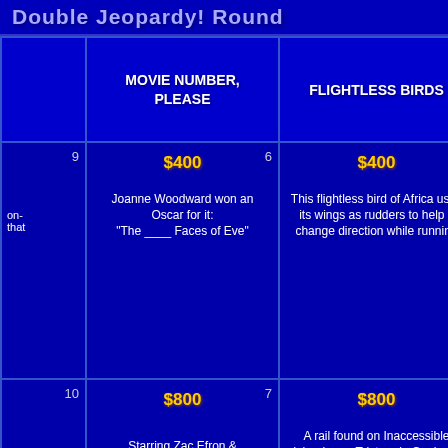Double Jeopardy! Round
|  | MOVIE NUMBER, PLEASE | FLIGHTLESS BIRDS | WORDS... RELI... |
| --- | --- | --- | --- |
| 9 | $400 6 | $400 14 | $4... |
| on- that | Joanne Woodward won an Oscar for it: "The ____ Faces of Eve" | This flightless bird of Africa uses its wings as rudders to help it change direction while running | This religion is... "way of t..." |
| 10 | $800 7 | $800 15 | $8... |
| value can a king a king | Starring Zac Efron & Matthew Perry: "____ Again" | A rail found on Inaccessible Island near Tristan da Cunha in this ocean is the smallest living flightless bird | 5-letter word... books that ha... a religion & ... fire |